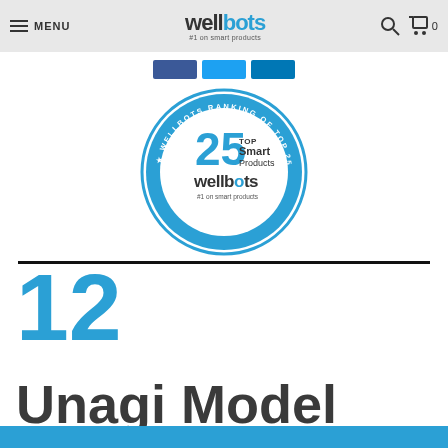MENU | wellbots #1 on smart products
[Figure (logo): Three social media share buttons (Facebook blue, Twitter light blue, LinkedIn dark blue)]
[Figure (logo): Wellbots Ranking of Top 25 Smart Products circular badge — 2021 Edition — 25 TOP Smart Products — wellbots #1 on smart products]
12 Unagi Model One